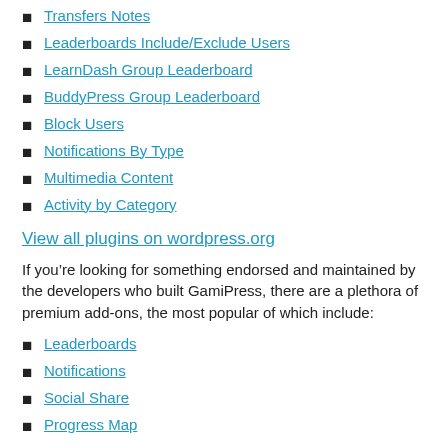Transfers Notes
Leaderboards Include/Exclude Users
LearnDash Group Leaderboard
BuddyPress Group Leaderboard
Block Users
Notifications By Type
Multimedia Content
Activity by Category
View all plugins on wordpress.org
If you’re looking for something endorsed and maintained by the developers who built GamiPress, there are a plethora of premium add-ons, the most popular of which include:
Leaderboards
Notifications
Social Share
Progress Map